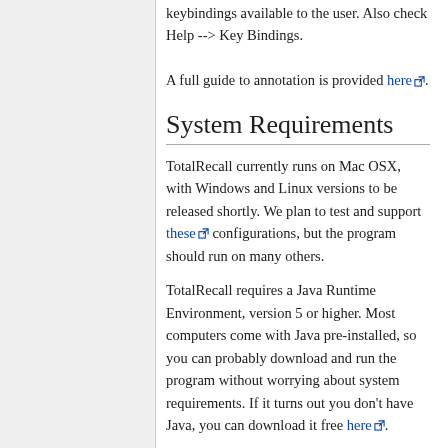keybindings available to the user. Also check Help --> Key Bindings.

A full guide to annotation is provided here.
System Requirements
TotalRecall currently runs on Mac OSX, with Windows and Linux versions to be released shortly. We plan to test and support these configurations, but the program should run on many others.
TotalRecall requires a Java Runtime Environment, version 5 or higher. Most computers come with Java pre-installed, so you can probably download and run the program without worrying about system requirements. If it turns out you don't have Java, you can download it free here.